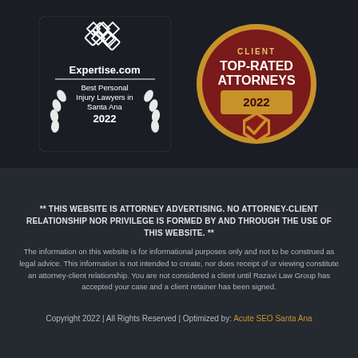[Figure (logo): Expertise.com badge - Best Personal Injury Lawyers in Santa Ana 2022, dark background with laurel wreath]
[Figure (logo): Client Top-Rated Attorneys 2022 medallion badge, dark red and gold with shield and checkmark]
** THIS WEBSITE IS ATTORNEY ADVERTISING. NO ATTORNEY-CLIENT RELATIONSHIP NOR PRIVILEGE IS FORMED BY AND THROUGH THE USE OF THIS WEBSITE. ** The information on this website is for informational purposes only and not to be construed as legal advice. This information is not intended to create, nor does receipt of or viewing constitute an attorney-client relationship. You are not considered a client until Razavi Law Group has accepted your case and a client retainer has been signed.
Copyright 2022 | All Rights Reserved | Optimized by: Acute SEO Santa Ana